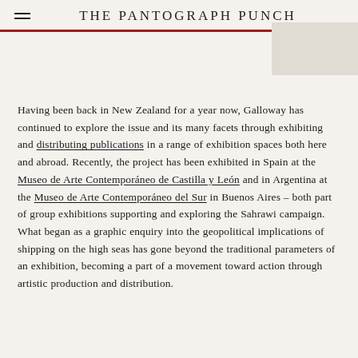THE PANTOGRAPH PUNCH
Having been back in New Zealand for a year now, Galloway has continued to explore the issue and its many facets through exhibiting and distributing publications in a range of exhibition spaces both here and abroad. Recently, the project has been exhibited in Spain at the Museo de Arte Contemporáneo de Castilla y León and in Argentina at the Museo de Arte Contemporáneo del Sur in Buenos Aires – both part of group exhibitions supporting and exploring the Sahrawi campaign. What began as a graphic enquiry into the geopolitical implications of shipping on the high seas has gone beyond the traditional parameters of an exhibition, becoming a part of a movement toward action through artistic production and distribution.